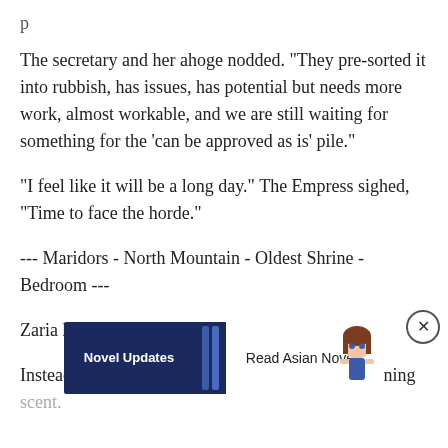The secretary and her ahoge nodded. "They pre-sorted it into rubbish, has issues, has potential but needs more work, almost workable, and we are still waiting for something for the 'can be approved as is' pile."
"I feel like it will be a long day." The Empress sighed, "Time to face the horde."
--- Maridors - North Mountain - Oldest Shrine - Bedroom ---
Zaria had decided to skip breakfast.
Instead, she decided to lie in and bask in the remaining scent.
[Figure (screenshot): Novel Updates advertisement banner showing 'Novel Updates' text on dark blue left side and 'Read Asian Novels' text on white right side with anime character illustration]
Something about that girl just relaxed her and made her